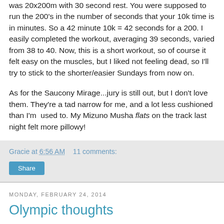was 20x200m with 30 second rest. You were supposed to run the 200's in the number of seconds that your 10k time is in minutes. So a 42 minute 10k = 42 seconds for a 200. I easily completed the workout, averaging 39 seconds, varied from 38 to 40. Now, this is a short workout, so of course it felt easy on the muscles, but I liked not feeling dead, so I'll try to stick to the shorter/easier Sundays from now on.
As for the Saucony Mirage...jury is still out, but I don't love them. They're a tad narrow for me, and a lot less cushioned than I'm used to. My Mizuno Musha flats on the track last night felt more pillowy!
Gracie at 6:56 AM    11 comments:
Share
Monday, February 24, 2014
Olympic thoughts
The Olympics are finally over, and I can have my life back.